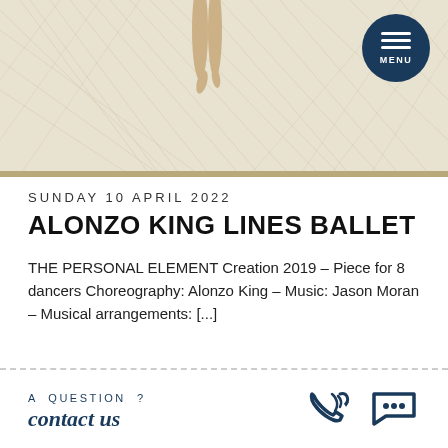[Figure (photo): Ballet dancer legs on pointe against a abstract white fibrous background, with a dark navy circular menu button in the top right corner]
SUNDAY 10 APRIL 2022
ALONZO KING LINES BALLET
THE PERSONAL ELEMENT Creation 2019 – Piece for 8 dancers Choreography: Alonzo King – Music: Jason Moran – Musical arrangements: [...]
A QUESTION ?
contact us